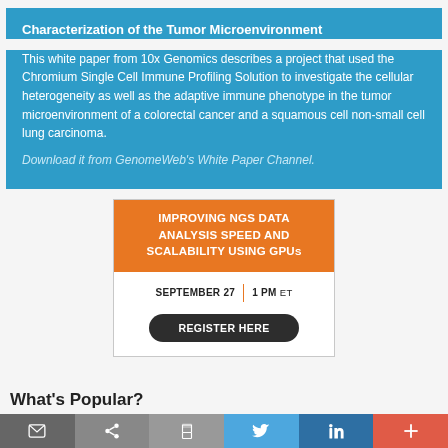Characterization of the Tumor Microenvironment
This white paper from 10x Genomics describes a project that used the Chromium Single Cell Immune Profiling Solution to investigate the cellular heterogeneity as well as the adaptive immune phenotype in the tumor microenvironment of a colorectal cancer and a squamous cell non-small cell lung carcinoma.
Download it from GenomeWeb's White Paper Channel.
[Figure (infographic): Webinar advertisement with orange header reading 'IMPROVING NGS DATA ANALYSIS SPEED AND SCALABILITY USING GPUs', date September 27, time 1 PM ET, and a Register Here button]
What's Popular?
Share bar with email, share, print, Twitter, LinkedIn, and more buttons